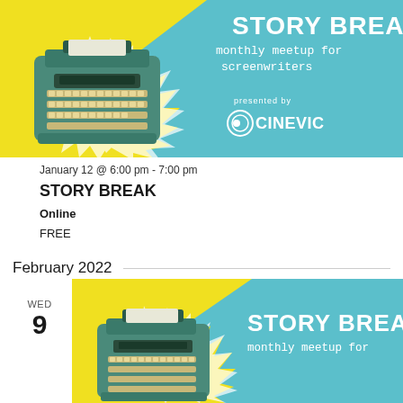[Figure (illustration): Story Break monthly meetup for screenwriters banner with teal typewriter on yellow/teal background, presented by CineVic]
January 12 @ 6:00 pm - 7:00 pm
STORY BREAK
Online
FREE
February 2022
WED
9
[Figure (illustration): Story Break monthly meetup for screenwriters banner (partial/cropped) with teal typewriter on yellow/teal background]